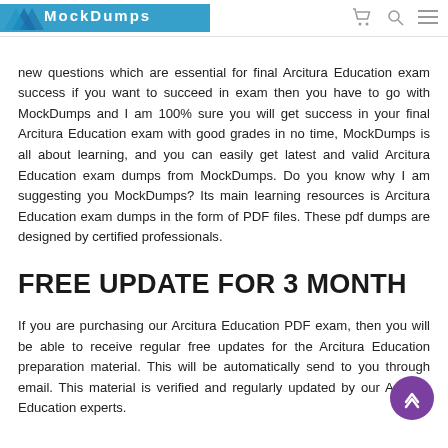MockDumps [logo]
MockDumps is best source for you in IT industry because they have all new questions which are essential for final Arcitura Education exam success if you want to succeed in exam then you have to go with MockDumps and I am 100% sure you will get success in your final Arcitura Education exam with good grades in no time, MockDumps is all about learning, and you can easily get latest and valid Arcitura Education exam dumps from MockDumps. Do you know why I am suggesting you MockDumps? Its main learning resources is Arcitura Education exam dumps in the form of PDF files. These pdf dumps are designed by certified professionals.
FREE UPDATE FOR 3 MONTH
If you are purchasing our Arcitura Education PDF exam, then you will be able to receive regular free updates for the Arcitura Education preparation material. This will be automatically send to you through email. This material is verified and regularly updated by our Arcitura Education experts.